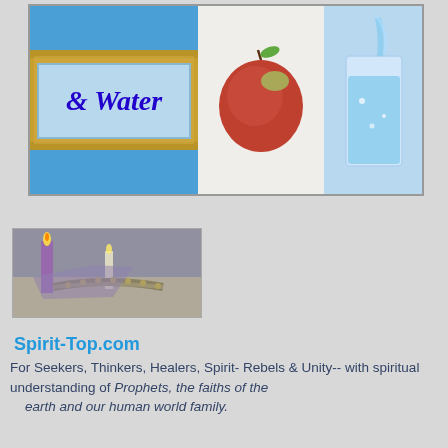[Figure (photo): Banner image with '& Water' text on left panel with sandy/wooden texture, red apple in center on white background, glass of water being poured on right with blue background]
[Figure (photo): Photo of candles and a feathered or beaded necklace-like object on a surface]
Spirit-Top.com
For Seekers, Thinkers, Healers, Spirit- Rebels & Unity-- with spiritual understanding of Prophets, the faiths of the earth and our human world family.